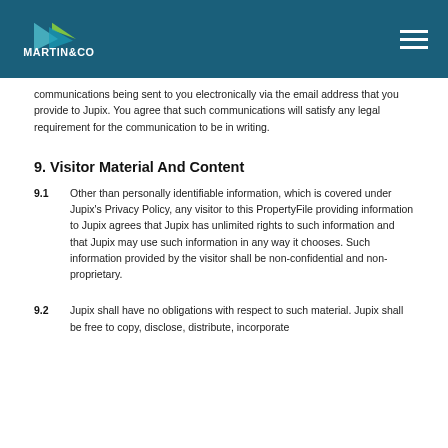[Figure (logo): Martin&Co logo with arrow/chevron mark in teal and green on dark teal header background]
communications being sent to you electronically via the email address that you provide to Jupix. You agree that such communications will satisfy any legal requirement for the communication to be in writing.
9. Visitor Material And Content
9.1  Other than personally identifiable information, which is covered under Jupix's Privacy Policy, any visitor to this PropertyFile providing information to Jupix agrees that Jupix has unlimited rights to such information and that Jupix may use such information in any way it chooses. Such information provided by the visitor shall be non-confidential and non-proprietary.
9.2  Jupix shall have no obligations with respect to such material. Jupix shall be free to copy, disclose, distribute, incorporate